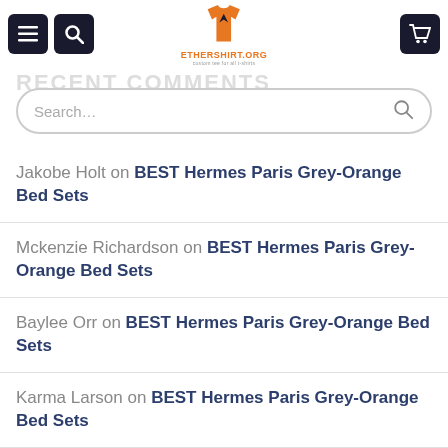[Figure (screenshot): Website header with hamburger menu icon, search icon, ethershirt.org logo with orange shirt graphic, and shopping cart icon]
RECENT COMMENTS
Search...
Jakobe Holt on BEST Hermes Paris Grey-Orange Bed Sets
Mckenzie Richardson on BEST Hermes Paris Grey-Orange Bed Sets
Baylee Orr on BEST Hermes Paris Grey-Orange Bed Sets
Karma Larson on BEST Hermes Paris Grey-Orange Bed Sets
Aurora Nguyen on BEST Hermes Paris Grey-Orange Bed Sets